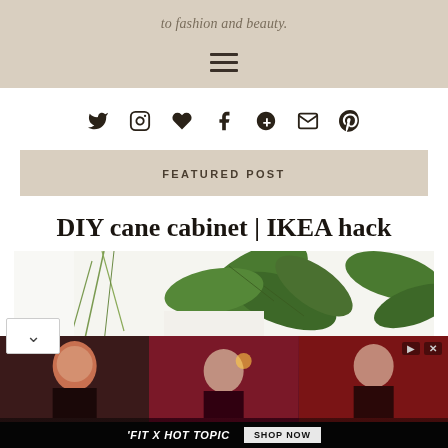to fashion and beauty.
[Figure (infographic): Social media icon bar showing Twitter, Instagram, heart/Bloglovin, Facebook, Google+, email, and Pinterest icons]
FEATURED POST
DIY cane cabinet | IKEA hack
[Figure (photo): Photo showing green plants against a white background]
[Figure (photo): Advertisement for FIT X HOT TOPIC showing three women in dark clothing. Includes Shop Now button and ad controls.]